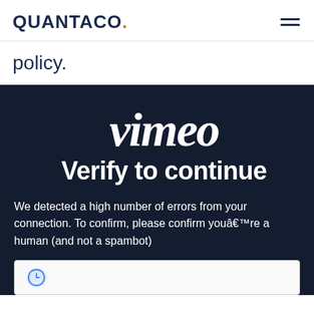QUANTACO.
policy.
[Figure (screenshot): Vimeo 'Verify to continue' overlay on a dark navy background. Shows the Vimeo logo in large italic white script font, followed by 'Verify to continue' heading, then body text: 'We detected a high number of errors from your connection. To continue, please confirm you’re a human (and not a spambot)', and a reCAPTCHA verification box at the bottom.]